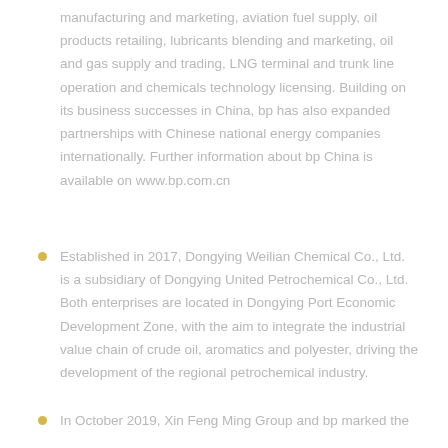manufacturing and marketing, aviation fuel supply, oil products retailing, lubricants blending and marketing, oil and gas supply and trading, LNG terminal and trunk line operation and chemicals technology licensing. Building on its business successes in China, bp has also expanded partnerships with Chinese national energy companies internationally. Further information about bp China is available on www.bp.com.cn
Established in 2017, Dongying Weilian Chemical Co., Ltd. is a subsidiary of Dongying United Petrochemical Co., Ltd. Both enterprises are located in Dongying Port Economic Development Zone, with the aim to integrate the industrial value chain of crude oil, aromatics and polyester, driving the development of the regional petrochemical industry.
In October 2019, Xin Feng Ming Group and bp marked the